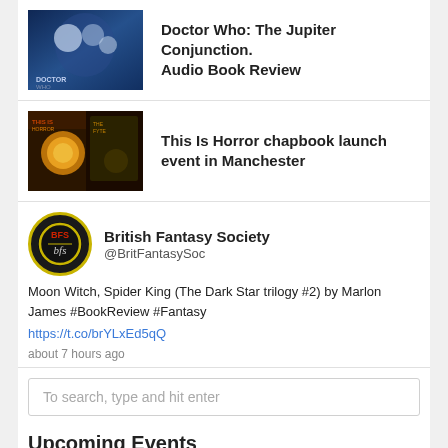[Figure (photo): Doctor Who audio book cover thumbnail with sci-fi imagery]
Doctor Who: The Jupiter Conjunction. Audio Book Review
[Figure (photo): This Is Horror chapbook launch event cover thumbnails]
This Is Horror chapbook launch event in Manchester
[Figure (logo): British Fantasy Society circular logo with BFS text]
British Fantasy Society
@BritFantasySoc
Moon Witch, Spider King (The Dark Star trilogy #2) by Marlon James #BookReview #Fantasy
https://t.co/brYLxEd5qQ
about 7 hours ago
To search, type and hit enter
Upcoming Events